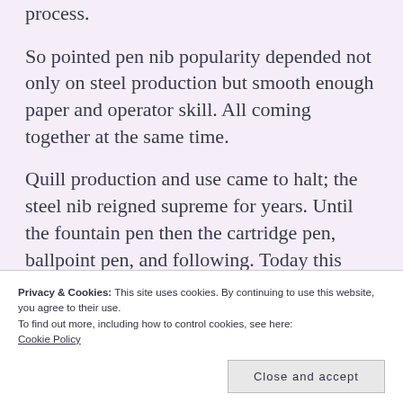process.
So pointed pen nib popularity depended not only on steel production but smooth enough paper and operator skill. All coming together at the same time.
Quill production and use came to halt; the steel nib reigned supreme for years. Until the fountain pen then the cartridge pen, ballpoint pen, and following. Today this path even leads us to
Privacy & Cookies: This site uses cookies. By continuing to use this website, you agree to their use.
To find out more, including how to control cookies, see here:
Cookie Policy
Close and accept
Related Prior Post: